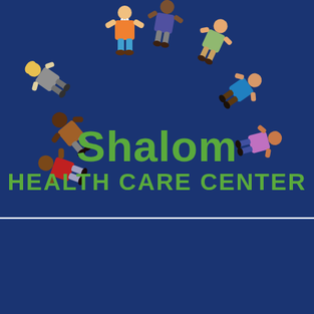[Figure (illustration): Shalom Health Care Center logo page. Top section shows a dark navy blue background with illustrated diverse figures arranged in a semicircle. Center text reads 'Shalom' in large green bold font, below reads 'HEALTH CARE CENTER' in bold green capitals. Bottom section shows a partial circular logo and an English language selector button with US flag.]